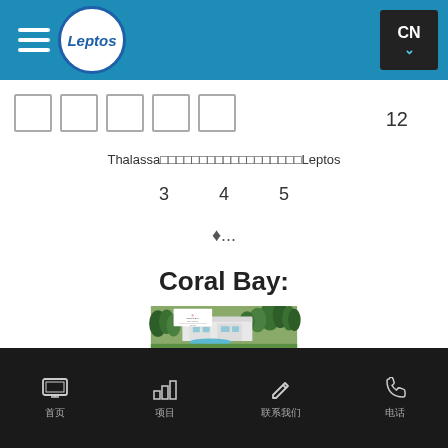Leptos app navigation bar with hamburger menu, Leptos logo, and CN language selector
[Figure (screenshot): Five empty square placeholder boxes in a row]
12
Thalassa（中文字符）Leptos
3   4   5
◆...
Coral Bay:
[Figure (photo): Aerial/perspective rendering of a modern white villa with pool surrounded by lush green trees, with Coral Bay From the Sea branding overlay in top left corner]
底部导航：首页 | 项目 | 联系我们 | 电话